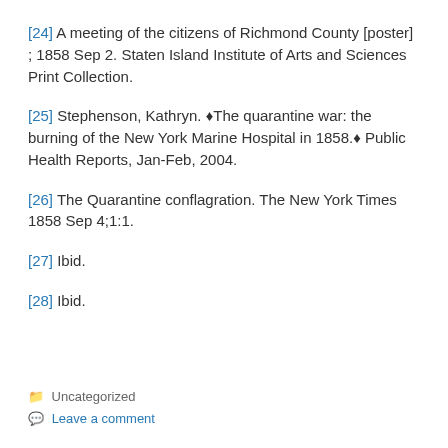[24] A meeting of the citizens of Richmond County [poster] ; 1858 Sep 2. Staten Island Institute of Arts and Sciences Print Collection.
[25] Stephenson, Kathryn. ◆The quarantine war: the burning of the New York Marine Hospital in 1858.◆ Public Health Reports, Jan-Feb, 2004.
[26] The Quarantine conflagration. The New York Times 1858 Sep 4;1:1.
[27] Ibid.
[28] Ibid.
Uncategorized
Leave a comment